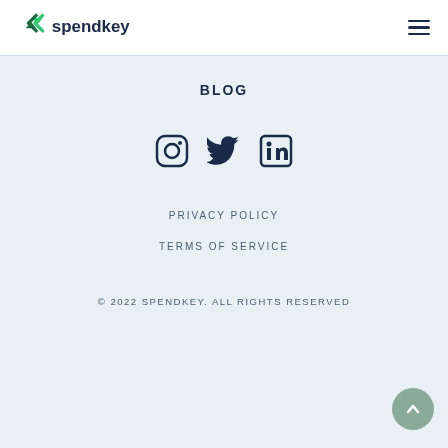spendkey — navigation header with logo and hamburger menu
BLOG
[Figure (infographic): Social media icons: Instagram, Twitter, LinkedIn]
PRIVACY POLICY
TERMS OF SERVICE
© 2022 SPENDKEY. ALL RIGHTS RESERVED